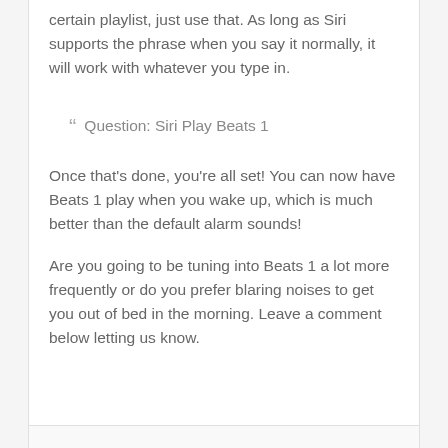certain playlist, just use that. As long as Siri supports the phrase when you say it normally, it will work with whatever you type in.
Question: Siri Play Beats 1
Once that's done, you're all set! You can now have Beats 1 play when you wake up, which is much better than the default alarm sounds!
Are you going to be tuning into Beats 1 a lot more frequently or do you prefer blaring noises to get you out of bed in the morning. Leave a comment below letting us know.